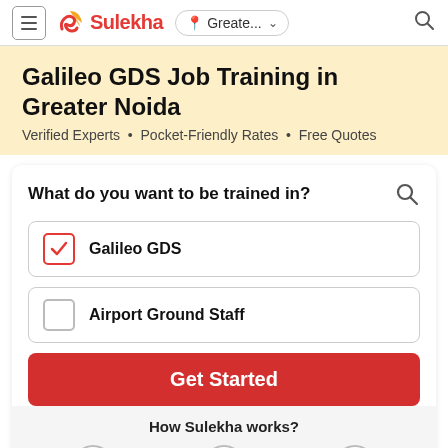≡ Sulekha | Greate... ▾ 🔍
Galileo GDS Job Training in Greater Noida
Verified Experts • Pocket-Friendly Rates • Free Quotes
What do you want to be trained in?
Galileo GDS (checked)
Airport Ground Staff (unchecked)
Get Started
How Sulekha works?
1   2   3